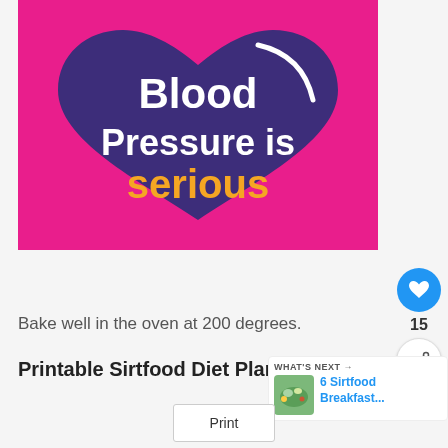[Figure (illustration): Pink background with a dark purple heart shape containing bold white text 'Blood Pressure is' and yellow/gold text 'serious', with a white curved line in the upper right of the heart]
Bake well in the oven at 200 degrees.
Printable Sirtfood Diet Plan PDF
[Figure (photo): Small thumbnail photo of a salad dish for 'What's Next' panel]
WHAT'S NEXT → 6 Sirtfood Breakfast...
Print